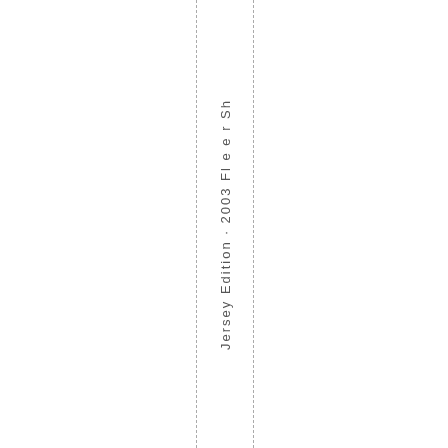Jersey Edition · 2003 Fleeper Sh